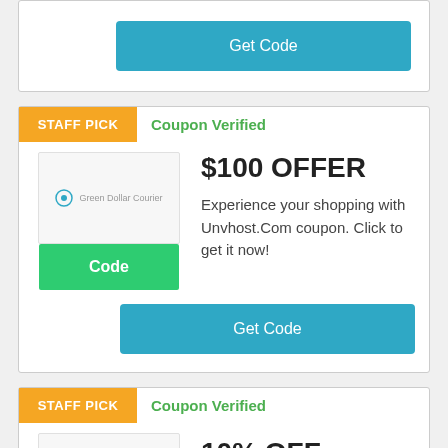[Figure (screenshot): Partial coupon card with teal Get Code button]
Get Code
STAFF PICK
Coupon Verified
$100 OFFER
Experience your shopping with Unvhost.Com coupon. Click to get it now!
[Figure (screenshot): Coupon image placeholder with code button]
Code
Get Code
STAFF PICK
Coupon Verified
10% OFF
Receive huge price discounts